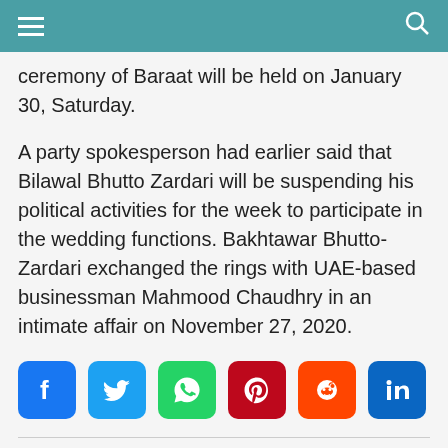ceremony of Baraat will be held on January 30, Saturday.
A party spokesperson had earlier said that Bilawal Bhutto Zardari will be suspending his political activities for the week to participate in the wedding functions. Bakhtawar Bhutto-Zardari exchanged the rings with UAE-based businessman Mahmood Chaudhry in an intimate affair on November 27, 2020.
[Figure (infographic): Social media share buttons: Facebook, Twitter, WhatsApp, Pinterest, Reddit, LinkedIn]
Read Previous
US ready for Omar Sheikh's prosecution if Pakistan denies, US top officials